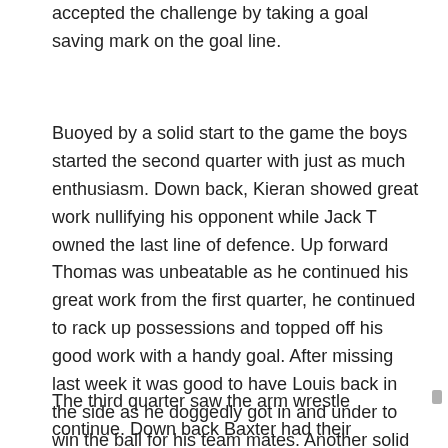accepted the challenge by taking a goal saving mark on the goal line.
Buoyed by a solid start to the game the boys started the second quarter with just as much enthusiasm. Down back, Kieran showed great work nullifying his opponent while Jack T owned the last line of defence. Up forward Thomas was unbeatable as he continued his great work from the first quarter, he continued to rack up possessions and topped off his good work with a handy goal. After missing last week it was good to have Louis back in the side as he doggedly got in and under to win the ball for his team mates. Another solid quarter from the boys meant the match was in the balance at the half.
The third quarter saw the arm wrestle continue. Down back Baxter had their dangerous full forward covered and along with Caelan worked tirelessly to repel any Zebra